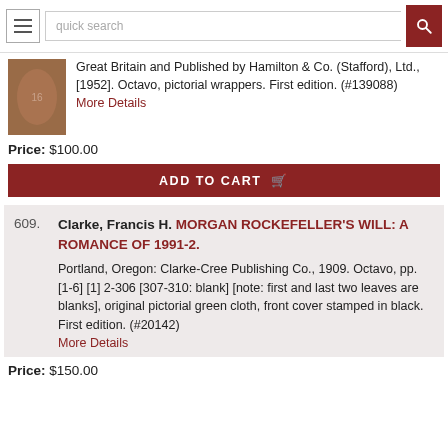quick search
Great Britain and Published by Hamilton & Co. (Stafford), Ltd., [1952]. Octavo, pictorial wrappers. First edition. (#139088)
More Details
Price: $100.00
ADD TO CART
609. Clarke, Francis H. MORGAN ROCKEFELLER'S WILL: A ROMANCE OF 1991-2. Portland, Oregon: Clarke-Cree Publishing Co., 1909. Octavo, pp. [1-6] [1] 2-306 [307-310: blank] [note: first and last two leaves are blanks], original pictorial green cloth, front cover stamped in black. First edition. (#20142) More Details
Price: $150.00